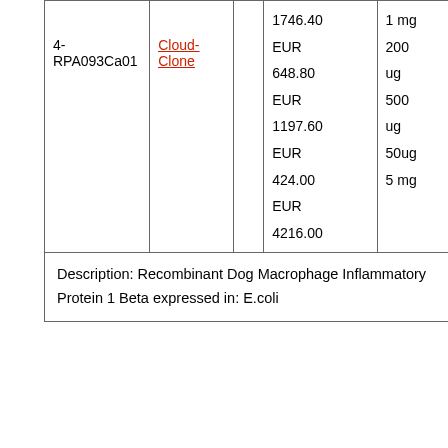| ID | Supplier |  | Price | Size |
| --- | --- | --- | --- | --- |
| 4-RPA093Ca01 | Cloud-Clone |  | 1746.40 EUR
648.80 EUR
1197.60 EUR
424.00 EUR
4216.00 | 1 mg
200 ug
500 ug
50ug
5 mg |
Description: Recombinant Dog Macrophage Inflammatory Protein 1 Beta expressed in: E.coli